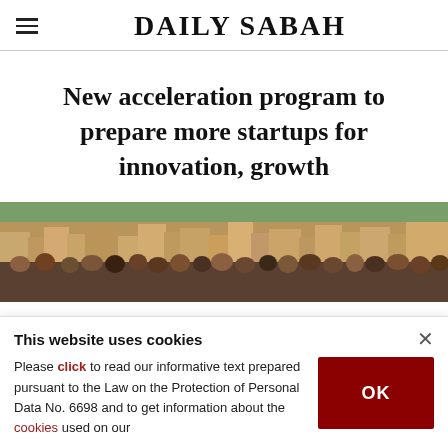DAILY SABAH
New acceleration program to prepare more startups for innovation, growth
[Figure (photo): Group photo of people on a rooftop with a cityscape visible in the background]
This website uses cookies
Please click to read our informative text prepared pursuant to the Law on the Protection of Personal Data No. 6698 and to get information about the cookies used on our